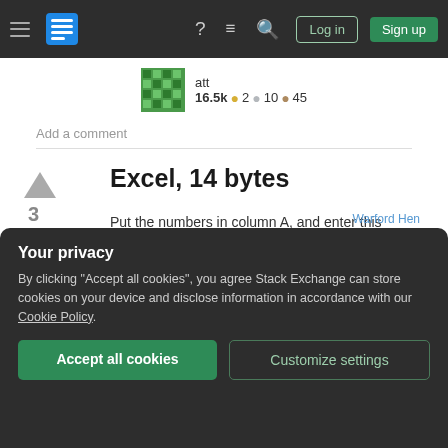Stack Exchange navigation bar with hamburger menu, logo, help, chat, search, Log in, Sign up
att 16.5k ● 2 ● 10 ● 45
Add a comment
Excel, 14 bytes
Put the numbers in column A, and enter this formula in another column
Your privacy
By clicking "Accept all cookies", you agree Stack Exchange can store cookies on your device and disclose information in accordance with our Cookie Policy.
Accept all cookies   Customize settings
Warford Hen